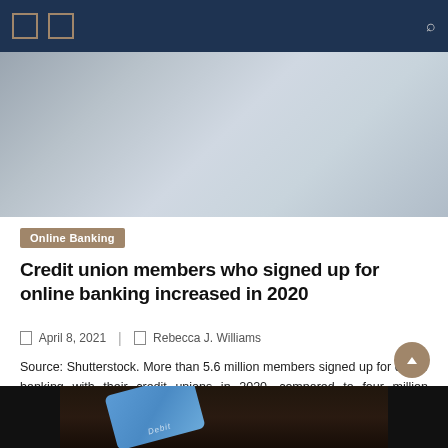[Figure (photo): Top-down view of a laptop computer on a white surface, partial view of keyboard and trackpad area, gray metallic surfaces.]
Online Banking
Credit union members who signed up for online banking increased in 2020
April 8, 2021   Rebecca J. Williams
Source: Shutterstock. More than 5.6 million members signed up for online banking with their credit unions in 2020, compared to four million members who signed up for online banking in 2019, according to a CU time analysis of fourth quarter data from NCUA. The increase, a 39% increase in the number of new online banking [...]
[Figure (photo): A hand holding a blue debit card against a dark/black background, bottom portion of the image.]